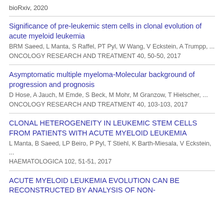bioRxiv, 2020
Significance of pre-leukemic stem cells in clonal evolution of acute myeloid leukemia
BRM Saeed, L Manta, S Raffel, PT Pyl, W Wang, V Eckstein, A Trumpp, ...
ONCOLOGY RESEARCH AND TREATMENT 40, 50-50, 2017
Asymptomatic multiple myeloma-Molecular background of progression and prognosis
D Hose, A Jauch, M Emde, S Beck, M Mohr, M Granzow, T Hielscher, ...
ONCOLOGY RESEARCH AND TREATMENT 40, 103-103, 2017
CLONAL HETEROGENEITY IN LEUKEMIC STEM CELLS FROM PATIENTS WITH ACUTE MYELOID LEUKEMIA
L Manta, B Saeed, LP Beiro, P Pyl, T Stiehl, K Barth-Miesala, V Eckstein, ...
HAEMATOLOGICA 102, 51-51, 2017
ACUTE MYELOID LEUKEMIA EVOLUTION CAN BE RECONSTRUCTED BY ANALYSIS OF NON-